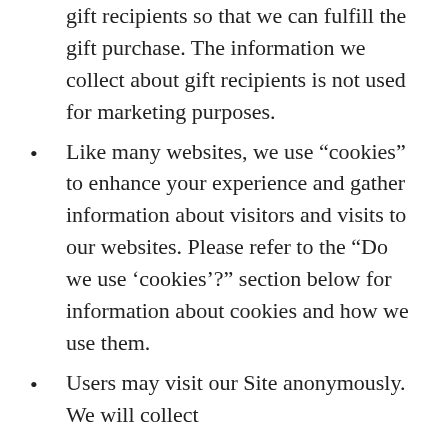gift recipients so that we can fulfill the gift purchase. The information we collect about gift recipients is not used for marketing purposes.
Like many websites, we use “cookies” to enhance your experience and gather information about visitors and visits to our websites. Please refer to the “Do we use ‘cookies’?” section below for information about cookies and how we use them.
Users may visit our Site anonymously. We will collect